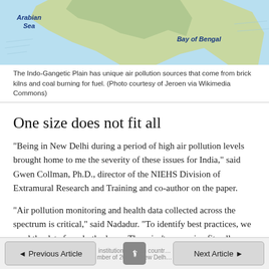[Figure (map): Map of the Indian subcontinent showing the Arabian Sea on the left and the Bay of Bengal on the right, with land terrain visible.]
The Indo-Gangetic Plain has unique air pollution sources that come from brick kilns and coal burning for fuel. (Photo courtesy of Jeroen via Wikimedia Commons)
One size does not fit all
“Being in New Delhi during a period of high air pollution levels brought home to me the severity of these issues for India,” said Gwen Collman, Ph.D., director of the NIEHS Division of Extramural Research and Training and co-author on the paper.
“Air pollution monitoring and health data collected across the spectrum is critical,” said Nadadur. “To identify best practices, we need the data from both places. There isn’t a one-size-fits-all way around this.”
Nadadur and colleagues at Indian and U.S. government agencies,
◄ Previous Article    ↑    Next Article ►